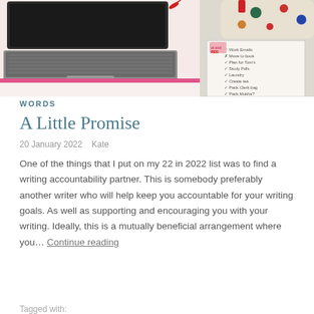[Figure (photo): Photo of a laptop with a pink case on a white surface, alongside a notebook with a handwritten to-do list]
WORDS
A Little Promise
20 January 2022   Kate
One of the things that I put on my 22 in 2022 list was to find a writing accountability partner. This is somebody preferably another writer who will help keep you accountable for your writing goals. As well as supporting and encouraging you with your writing. Ideally, this is a mutually beneficial arrangement where you… Continue reading
Tagged with: ...